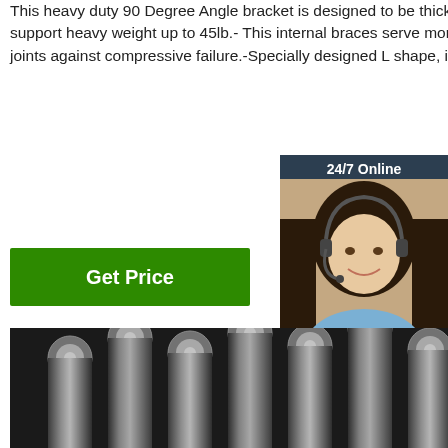This heavy duty 90 Degree Angle bracket is designed to be thicker than most corner braces in market, aim to support heavy weight up to 45lb.- This internal braces serve more as structural supports to strengthen corner joints against compressive failure.-Specially designed L shape, is an important fastener to make parts stay firm.
[Figure (other): Green 'Get Price' button]
[Figure (other): 24/7 Online chat widget with photo of female customer service representative wearing a headset, and a 'Click here for free chat!' message with an orange QUOTATION button]
[Figure (photo): Close-up photo of multiple shiny steel/metal rods arranged diagonally, showing their circular cross-sections at the ends]
[Figure (other): Orange 'TOP' badge with decorative dots in bottom right corner of the image]